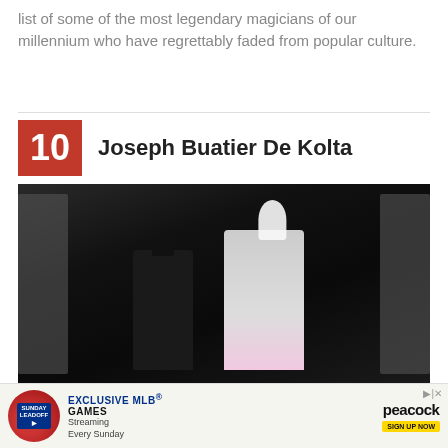list of some of the most legendary magicians of our millennium who have regrettably faded from popular culture.
10  Joseph Buatier De Kolta
[Figure (photo): A magician in a tuxedo and top hat performs with a woman in a showgirl costume with white feathered headdress and pink feather boa, against a dark background with geometric shapes.]
[Figure (other): Advertisement banner: EXCLUSIVE MLB GAMES on Peacock, Sunday Leadoff, Streaming Every Sunday, Sign Up Now button.]